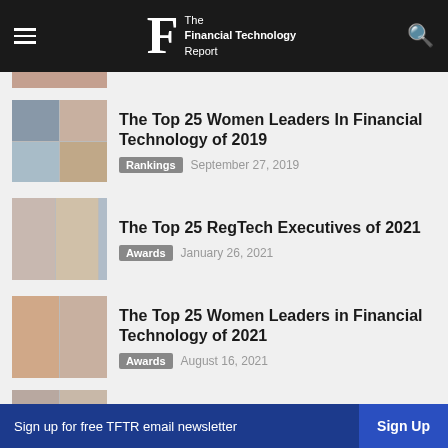The Financial Technology Report
[Figure (photo): Partial article thumbnail cropped at top]
The Top 25 Women Leaders In Financial Technology of 2019
Rankings   September 27, 2019
The Top 25 RegTech Executives of 2021
Awards   January 26, 2021
The Top 25 Women Leaders in Financial Technology of 2021
Awards   August 16, 2021
The Top 25 Women Leaders In Financial
Sign up for free TFTR email newsletter   Sign Up